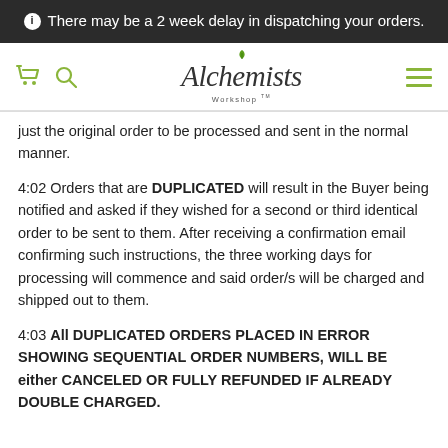ℹ There may be a 2 week delay in dispatching your orders.
[Figure (logo): Alchemists Workshop TM logo with green leaf and cart/search icons and hamburger menu]
just the original order to be processed and sent in the normal manner.
4:02 Orders that are DUPLICATED will result in the Buyer being notified and asked if they wished for a second or third identical order to be sent to them. After receiving a confirmation email confirming such instructions, the three working days for processing will commence and said order/s will be charged and shipped out to them.
4:03 All DUPLICATED ORDERS PLACED IN ERROR SHOWING SEQUENTIAL ORDER NUMBERS, WILL BE either CANCELED OR FULLY REFUNDED IF ALREADY DOUBLE CHARGED.